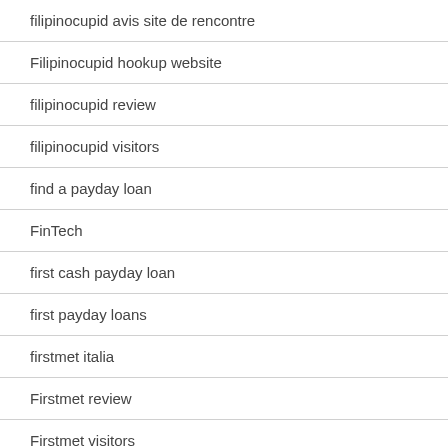| filipinocupid avis site de rencontre |
| Filipinocupid hookup website |
| filipinocupid review |
| filipinocupid visitors |
| find a payday loan |
| FinTech |
| first cash payday loan |
| first payday loans |
| firstmet italia |
| Firstmet review |
| Firstmet visitors |